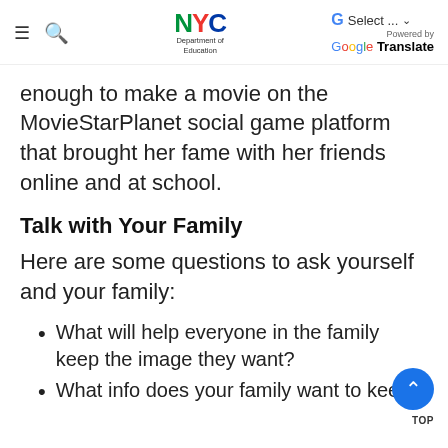NYC Department of Education | Google Translate Select
enough to make a movie on the MovieStarPlanet social game platform that brought her fame with her friends online and at school.
Talk with Your Family
Here are some questions to ask yourself and your family:
What will help everyone in the family keep the image they want?
What info does your family want to keep